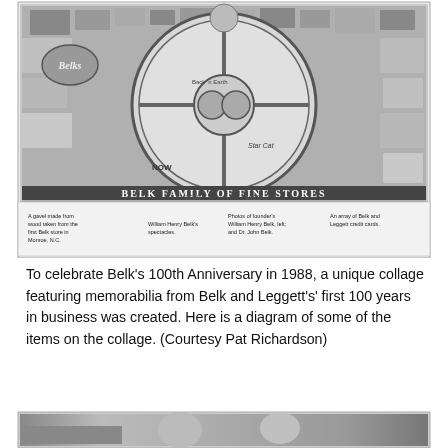[Figure (illustration): Diagram of a collage celebrating Belk's 100th Anniversary in 1988. The collage features a large wheel/circular design labeled 'Belk Family of Fine Stores' with various memorabilia items. Below the collage image are labeled callouts pointing to specific items: a gavel made from wood taken from the first Belk store in Monroe, NC; William Henry Belk's spectacles; Photos of founder's William Henry Belk, left, and Dr. John Belk; An array of Belk and Leggett credit cards.]
To celebrate Belk's 100th Anniversary in 1988, a unique collage featuring memorabilia from Belk and Leggett's' first 100 years in business was created. Here is a diagram of some of the items on the collage. (Courtesy Pat Richardson)
[Figure (photo): Partial view of a black and white photograph at the bottom of the page, showing people.]